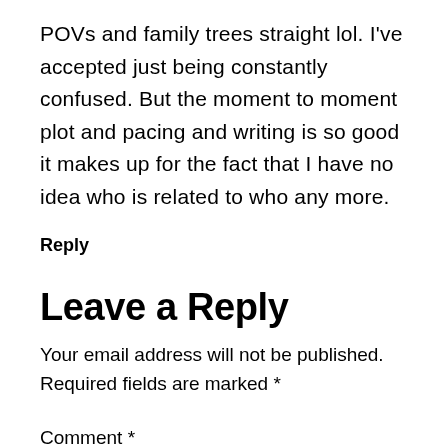POVs and family trees straight lol. I've accepted just being constantly confused. But the moment to moment plot and pacing and writing is so good it makes up for the fact that I have no idea who is related to who any more.
Reply
Leave a Reply
Your email address will not be published. Required fields are marked *
Comment *